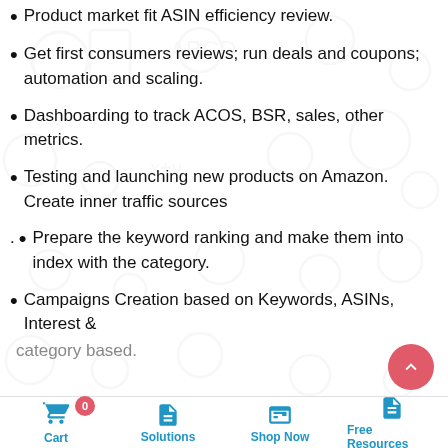Product market fit ASIN efficiency review.
Get first consumers reviews; run deals and coupons; automation and scaling.
Dashboarding to track ACOS, BSR, sales, other metrics.
Testing and launching new products on Amazon. Create inner traffic sources
Prepare the keyword ranking and make them into index with the category.
Campaigns Creation based on Keywords, ASINs, Interest & category based.
Cart  0  |  Solutions  |  Shop Now  |  Free Resources